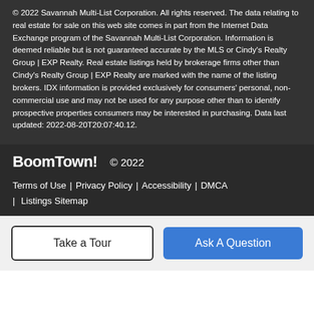© 2022 Savannah Multi-List Corporation. All rights reserved. The data relating to real estate for sale on this web site comes in part from the Internet Data Exchange program of the Savannah Multi-List Corporation. Information is deemed reliable but is not guaranteed accurate by the MLS or Cindy's Realty Group | EXP Realty. Real estate listings held by brokerage firms other than Cindy's Realty Group | EXP Realty are marked with the name of the listing brokers. IDX information is provided exclusively for consumers' personal, non-commercial use and may not be used for any purpose other than to identify prospective properties consumers may be interested in purchasing. Data last updated: 2022-08-20T20:07:40.12.
BoomTown! © 2022 | Terms of Use | Privacy Policy | Accessibility | DMCA | Listings Sitemap
Take a Tour | Ask A Question